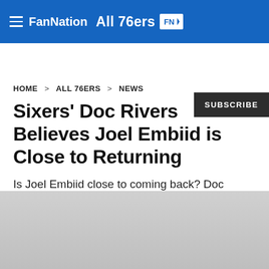FanNation All 76ers FN
SUBSCRIBE
HOME > ALL 76ERS > NEWS
Sixers' Doc Rivers Believes Joel Embiid is Close to Returning
Is Joel Embiid close to coming back? Doc Rivers talks about it.
JUSTIN GRASSO • MAR 31, 2021 2:30 PM EDT